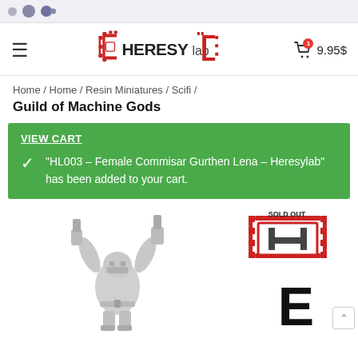Browser navigation bar with dots
[Figure (logo): HERESYlab logo with red gear/bracket decorations and stylized text]
9.95$
Home / Home / Resin Miniatures / Scifi /
Guild of Machine Gods
VIEW CART
"HL003 – Female Commisar Gurthen Lena – Heresylab" has been added to your cart.
[Figure (photo): Gray resin miniature of a female commissar figure with raised arms holding weapons, viewed from front]
[Figure (logo): HERESYlab logo partially visible with SOLD OUT text, red gear decoration, large letter E below]